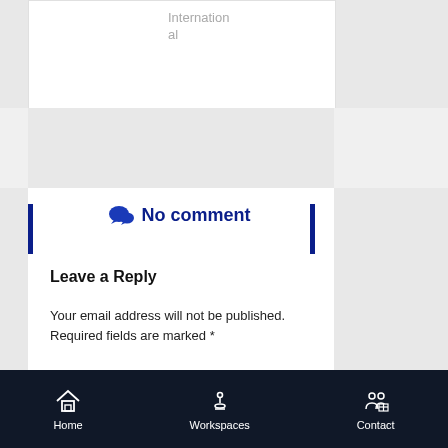International
No comment
Leave a Reply
Your email address will not be published. Required fields are marked *
Comment *
Home  Workspaces  Contact